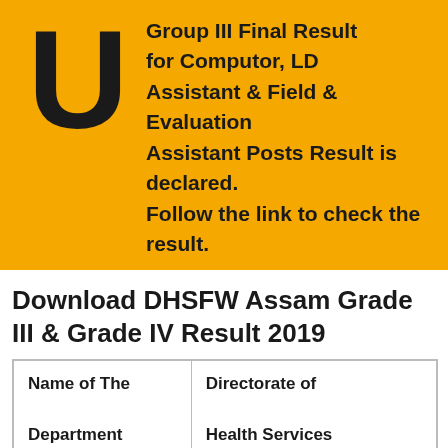[Figure (infographic): Yellow background box with large black letter U on left and bold black text on right reading: Group III Final Result for Computor, LD Assistant & Field & Evaluation Assistant Posts Result is declared. Follow the link to check the result.]
Download DHSFW Assam Grade III & Grade IV Result 2019
| Name of The Department | Directorate of Health Services (Family Welfare) |